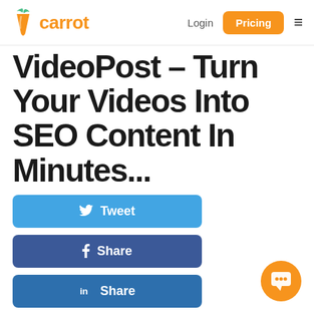carrot | Login | Pricing
VideoPost – Turn Your Videos Into SEO Content In Minutes...
[Figure (other): Twitter Tweet button (blue)]
[Figure (other): Facebook Share button (dark blue)]
[Figure (other): LinkedIn Share button (blue)]
December 21, 2017
alex